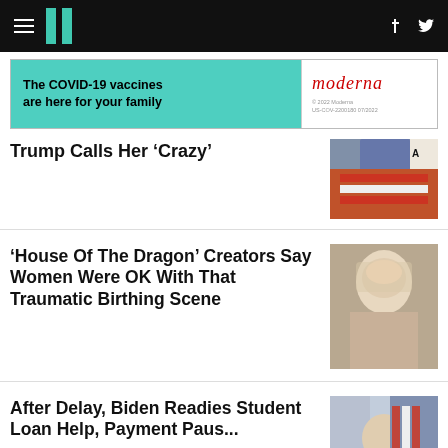HuffPost navigation bar with logo, hamburger menu, Facebook and Twitter icons
[Figure (infographic): Moderna COVID-19 vaccine advertisement banner: 'The COVID-19 vaccines are here for your family' with teal background and Moderna logo]
Trump Calls Her ‘Crazy’
[Figure (photo): Photo of a man in suit with American flag, partially cropped]
‘House Of The Dragon’ Creators Say Women Were OK With That Traumatic Birthing Scene
[Figure (photo): Photo of a blonde woman from House of the Dragon]
After Delay, Biden Readies Student Loan Help, Payment Paus...
[Figure (photo): Photo of President Biden with American flag in background]